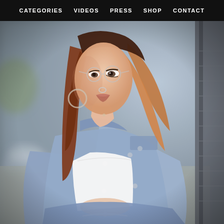CATEGORIES  VIDEOS  PRESS  SHOP  CONTACT
[Figure (photo): Street fashion portrait of a young woman with long auburn/blonde ombre hair, wearing round thin-framed glasses with a nose ring, white crop top, and light blue denim jacket draped off shoulders. Shot outdoors on a sidewalk with blurred urban background, soft natural light.]